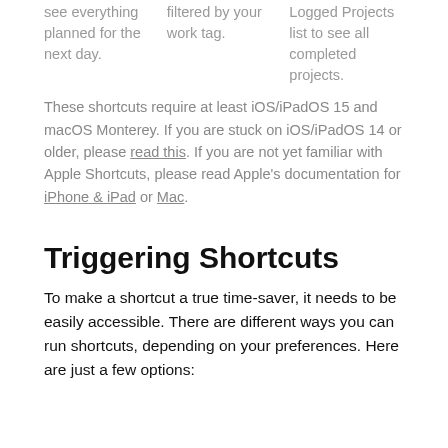see everything planned for the next day.
filtered by your work tag.
Logged Projects list to see all completed projects.
These shortcuts require at least iOS/iPadOS 15 and macOS Monterey. If you are stuck on iOS/iPadOS 14 or older, please read this. If you are not yet familiar with Apple Shortcuts, please read Apple's documentation for iPhone & iPad or Mac.
Triggering Shortcuts
To make a shortcut a true time-saver, it needs to be easily accessible. There are different ways you can run shortcuts, depending on your preferences. Here are just a few options: